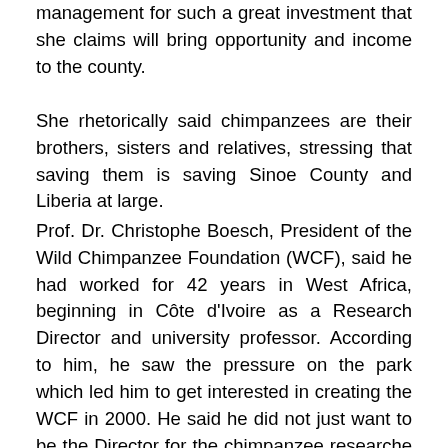management for such a great investment that she claims will bring opportunity and income to the county.
She rhetorically said chimpanzees are their brothers, sisters and relatives, stressing that saving them is saving Sinoe County and Liberia at large.
Prof. Dr. Christophe Boesch, President of the Wild Chimpanzee Foundation (WCF), said he had worked for 42 years in West Africa, beginning in Côte d'Ivoire as a Research Director and university professor. According to him, he saw the pressure on the park which led him to get interested in creating the WCF in 2000. He said he did not just want to be the Director for the chimpanzee researche institute, but to establish this non-governmental organization that will make a great impact in Africa. WCF started in Liberia in 2006 and was also established in Guinea in 2009.